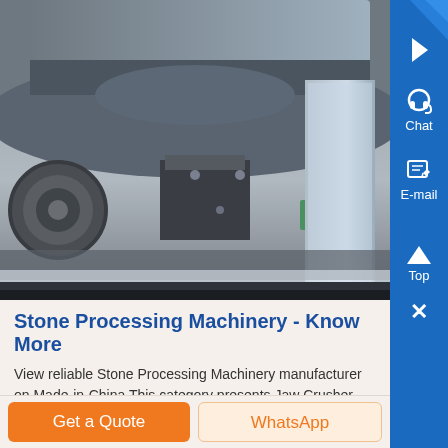[Figure (photo): Close-up photo of stone processing machinery parts, showing gray metallic crusher components with visible bolts and green mechanical element]
Stone Processing Machinery - Know More
View reliable Stone Processing Machinery manufacturers on Made-in-China This category presents Jaw Crusher Crusher from China Stone Processing Machinery suppl...
Get a Quote
WhatsApp